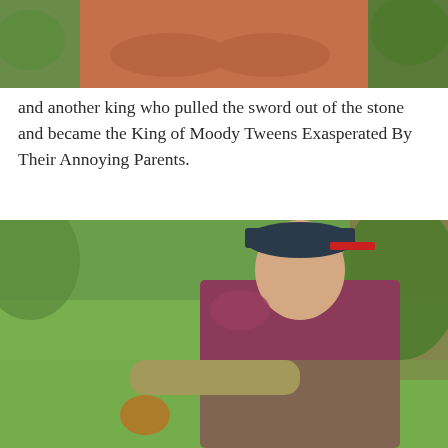[Figure (photo): Partial view of a person in a brown/rust colored top with crossed arms, outdoor background with green foliage]
and another king who pulled the sword out of the stone and became the King of Moody Tweens Exasperated By Their Annoying Parents.
[Figure (photo): A young boy wearing a dark baseball cap with red brim and a maroon/dark pink t-shirt, standing on green grass outdoors, smiling slightly and holding something orange at the bottom, trees visible in background]